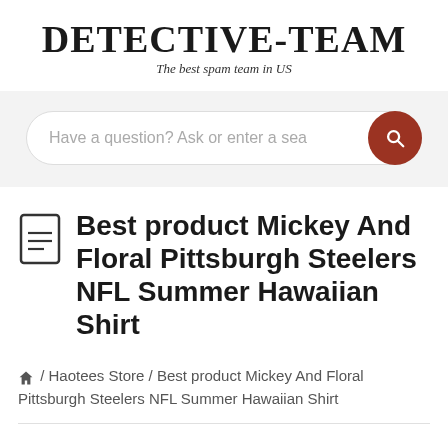DETECTIVE-TEAM
The best spam team in US
Have a question? Ask or enter a sea
Best product Mickey And Floral Pittsburgh Steelers NFL Summer Hawaiian Shirt
🏠 / Haotees Store / Best product Mickey And Floral Pittsburgh Steelers NFL Summer Hawaiian Shirt